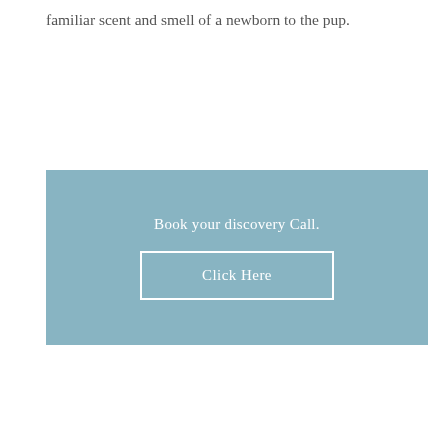familiar scent and smell of a newborn to the pup.
[Figure (infographic): A muted blue-grey call-to-action banner with the text 'Book your discovery Call.' and a white-bordered button labeled 'Click Here']